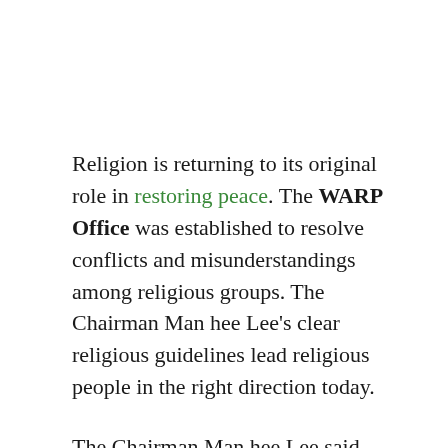Religion is returning to its original role in restoring peace. The WARP Office was established to resolve conflicts and misunderstandings among religious groups. The Chairman Man hee Lee's clear religious guidelines lead religious people in the right direction today.
The Chairman Man hee Lee said, “If religions are in harmony with each other, there will be no reason to fight. To achieve harmony among